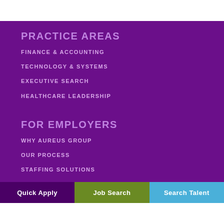PRACTICE AREAS
FINANCE & ACCOUNTING
TECHNOLOGY & SYSTEMS
EXECUTIVE SEARCH
HEALTHCARE LEADERSHIP
FOR EMPLOYERS
WHY AUREUS GROUP
OUR PROCESS
STAFFING SOLUTIONS
Quick Apply | Job Search | Search Talent